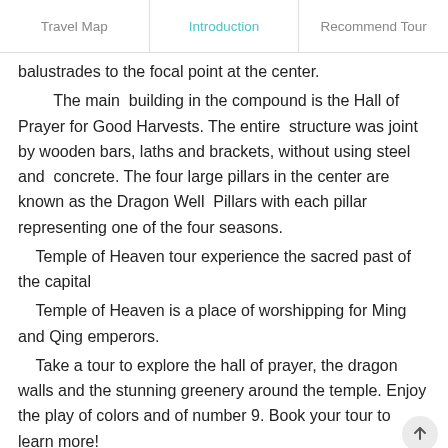Travel Map  |  Introduction  |  Recommend Tour
balustrades to the focal point at the center.

The main building in the compound is the Hall of Prayer for Good Harvests. The entire structure was joint by wooden bars, laths and brackets, without using steel and concrete. The four large pillars in the center are known as the Dragon Well Pillars with each pillar representing one of the four seasons.
  Temple of Heaven tour experience the sacred past of the capital
  Temple of Heaven is a place of worshipping for Ming and Qing emperors.
  Take a tour to explore the hall of prayer, the dragon walls and the stunning greenery around the temple. Enjoy the play of colors and of number 9. Book your tour to learn more!